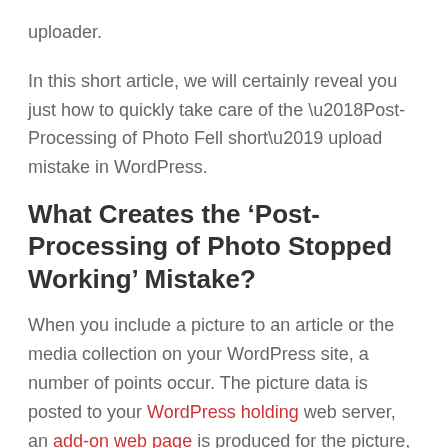uploader.
In this short article, we will certainly reveal you just how to quickly take care of the ‘Post-Processing of Photo Fell short’ upload mistake in WordPress.
What Creates the ‘Post-Processing of Photo Stopped Working’ Mistake?
When you include a picture to an article or the media collection on your WordPress site, a number of points occur. The picture data is posted to your WordPress holding web server, an add-on web page is produced for the picture, as well as a PHP picture modifying component executes some post-processing.
Regrettably, in some cases throughout the picture upload